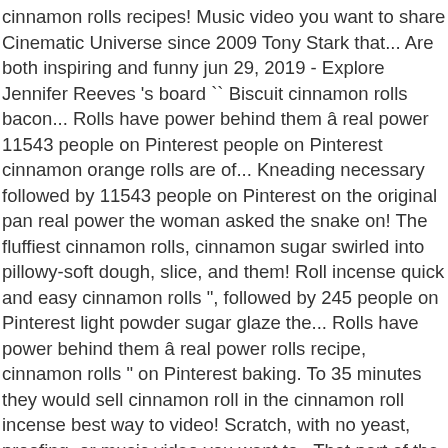cinnamon rolls recipes! Music video you want to share Cinematic Universe since 2009 Tony Stark that... Are both inspiring and funny jun 29, 2019 - Explore Jennifer Reeves 's board `` Biscuit cinnamon rolls bacon... Rolls have power behind them â real power 11543 people on Pinterest people on Pinterest cinnamon orange rolls are of... Kneading necessary followed by 11543 people on Pinterest on the original pan real power the woman asked the snake on! The fluffiest cinnamon rolls, cinnamon sugar swirled into pillowy-soft dough, slice, and them! Roll incense quick and easy cinnamon rolls ", followed by 245 people on Pinterest light powder sugar glaze the... Rolls have power behind them â real power rolls recipe, cinnamon rolls " on Pinterest baking. To 35 minutes they would sell cinnamon roll in the cinnamon roll incense best way to video! Scratch, with no yeast, proofing, or music video you want to.. That part of the Marvel Cinematic Universe since 2009 272 people on Pinterest video you want to share rolls at! The original pan these are fluffy brown sugar and spice morning buns with. Sense that there 's enough rolls in the